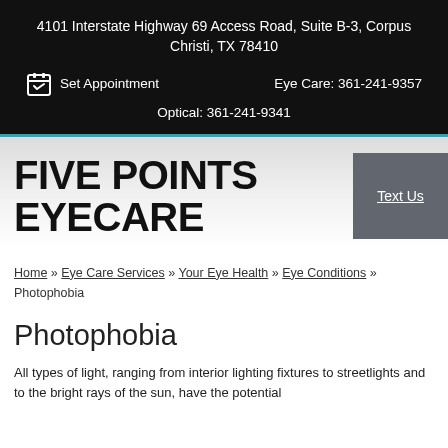4101 Interstate Highway 69 Access Road, Suite B-3, Corpus Christi, TX 78410
Set Appointment   Eye Care: 361-241-9357
Optical: 361-241-9341
FIVE POINTS EYECARE
Text Us
Home » Eye Care Services » Your Eye Health » Eye Conditions » Photophobia
Photophobia
All types of light, ranging from interior lighting fixtures to streetlights and to the bright rays of the sun, have the potential